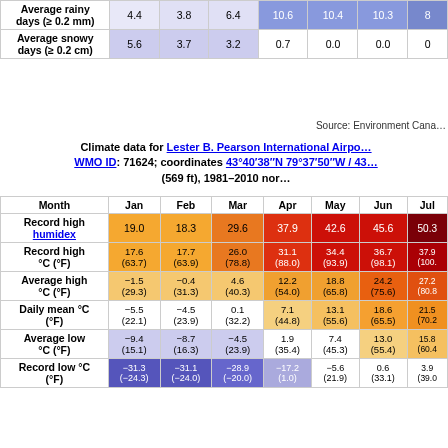|  | Jan | Feb | Mar | Apr | May | Jun | Jul |
| --- | --- | --- | --- | --- | --- | --- | --- |
| Average rainy days (≥ 0.2 mm) | 4.4 | 3.8 | 6.4 | 10.6 | 10.4 | 10.3 | 8 |
| Average snowy days (≥ 0.2 cm) | 5.6 | 3.7 | 3.2 | 0.7 | 0.0 | 0.0 | 0 |
| Record high humidex | 19.0 | 18.3 | 29.6 | 37.9 | 42.6 | 45.6 | 50.3 |
| Record high °C (°F) | 17.6 (63.7) | 17.7 (63.9) | 26.0 (78.8) | 31.1 (88.0) | 34.4 (93.9) | 36.7 (98.1) | 37.9 (100.2) |
| Average high °C (°F) | −1.5 (29.3) | −0.4 (31.3) | 4.6 (40.3) | 12.2 (54.0) | 18.8 (65.8) | 24.2 (75.6) | 27.2 (80.8) |
| Daily mean °C (°F) | −5.5 (22.1) | −4.5 (23.9) | 0.1 (32.2) | 7.1 (44.8) | 13.1 (55.6) | 18.6 (65.5) | 21.5 (70.2) |
| Average low °C (°F) | −9.4 (15.1) | −8.7 (16.3) | −4.5 (23.9) | 1.9 (35.4) | 7.4 (45.3) | 13.0 (55.4) | 15.8 (60.4) |
| Record low °C (°F) | −31.3 (−24.3) | −31.1 (−24.0) | −28.9 (−20.0) | −17.2 (1.0) | −5.6 (21.9) | 0.6 (33.1) | 3.9 (39.0) |
Source: Environment Canada
Climate data for Lester B. Pearson International Airport WMO ID: 71624; coordinates 43°40′38″N 79°37′50″W / 43... (569 ft), 1981–2010 normals